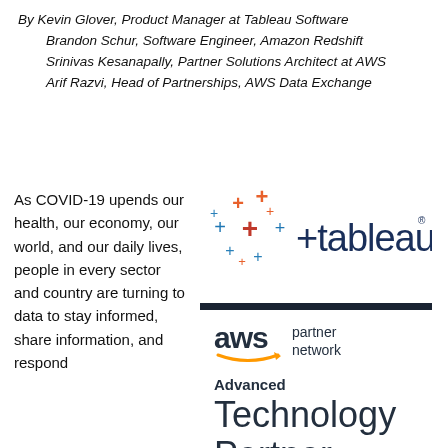By Kevin Glover, Product Manager at Tableau Software
Brandon Schur, Software Engineer, Amazon Redshift
Srinivas Kesanapally, Partner Solutions Architect at AWS
Arif Razvi, Head of Partnerships, AWS Data Exchange
As COVID-19 upends our health, our economy, our world, and our daily lives, people in every sector and country are turning to data to stay informed, share information, and respond with...
[Figure (logo): Tableau Software logo with colorful plus signs and the word 'tableau']
[Figure (logo): AWS Partner Network badge with 'Advanced Technology Partner' text]